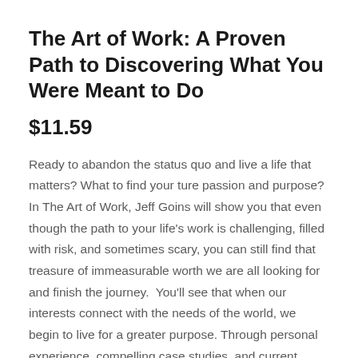The Art of Work: A Proven Path to Discovering What You Were Meant to Do
$11.59
Ready to abandon the status quo and live a life that matters? What to find your ture passion and purpose? In The Art of Work, Jeff Goins will show you that even though the path to your life's work is challenging, filled with risk, and sometimes scary, you can still find that treasure of immeasurable worth we are all looking for and finish the journey.  You'll see that when our interests connect with the needs of the world, we begin to live for a greater purpose. Through personal experience, compelling case studies, and current research on the mysteries of motivation and talent, Jeff shows readers